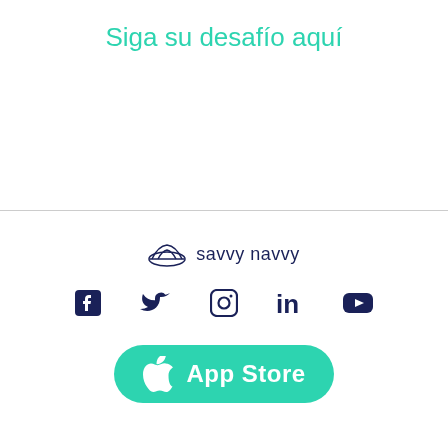Siga su desafío aquí
[Figure (logo): savvy navvy logo with icon and text]
[Figure (infographic): Social media icons: Facebook, Twitter, Instagram, LinkedIn, YouTube]
[Figure (infographic): App Store download button with Apple logo]